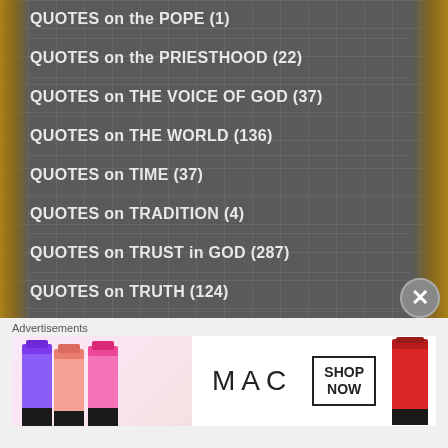QUOTES on the POPE (1)
QUOTES on the PRIESTHOOD (22)
QUOTES on THE VOICE OF GOD (37)
QUOTES on THE WORLD (136)
QUOTES on TIME (37)
QUOTES on TRADITION (4)
QUOTES on TRUST in GOD (287)
QUOTES on TRUTH (124)
QUOTES on UNITY/with GOD (49)
QUOTES on VANITY (14)
QUOTES on VIOLENCE (18)
Advertisements
[Figure (photo): MAC cosmetics advertisement showing lipsticks with MAC logo and SHOP NOW box]